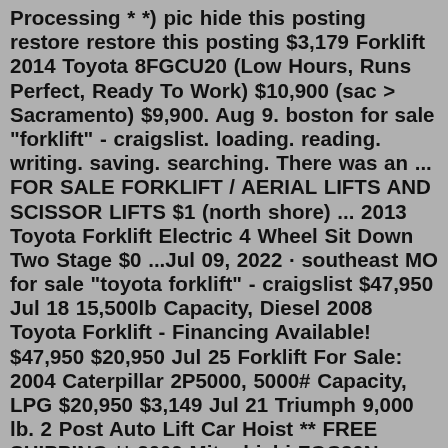Processing * *) pic hide this posting restore restore this posting $3,179 Forklift 2014 Toyota 8FGCU20 (Low Hours, Runs Perfect, Ready To Work) $10,900 (sac > Sacramento) $9,900. Aug 9. boston for sale "forklift" - craigslist. loading. reading. writing. saving. searching. There was an ... FOR SALE FORKLIFT / AERIAL LIFTS AND SCISSOR LIFTS $1 (north shore) ... 2013 Toyota Forklift Electric 4 Wheel Sit Down Two Stage $0 ...Jul 09, 2022 · southeast MO for sale "toyota forklift" - craigslist $47,950 Jul 18 15,500lb Capacity, Diesel 2008 Toyota Forklift - Financing Available! $47,950 $20,950 Jul 25 Forklift For Sale: 2004 Caterpillar 2P5000, 5000# Capacity, LPG $20,950 $3,149 Jul 21 Triumph 9,000 lb. 2 Post Auto Lift Car Hoist ** FREE SHIPPING ** 2009 Mitsubishi FGC30N 6,000# LP Cushion Forklift. $17,950 (eau) $10,499. Aug 11. Pneumatic 4000 LB. Daewoo Forklift. $10,499 (grb > 60106) $180.2013 Toyota Tundra 4WD Truck Double Cab SR5 4.6L V8 pickup Gray. $25,000 (CALL 417-248-1356 FOR AVAILABILITY) $35,759. Jul 21.USED TOYOTA